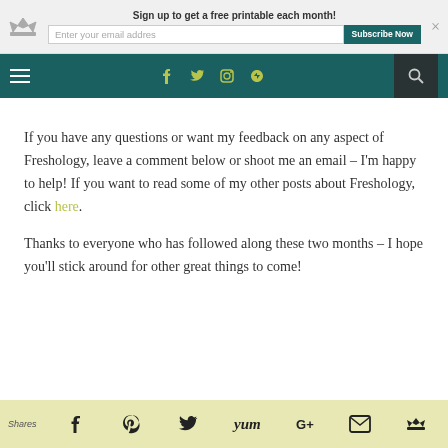Sign up to get a free printable each month! Enter your email addres [Subscribe Now]
[Figure (screenshot): Navigation bar with hamburger menu, social media icons (Facebook, Twitter, Instagram, RSS), and search icon on dark teal background]
If you have any questions or want my feedback on any aspect of Freshology, leave a comment below or shoot me an email – I'm happy to help! If you want to read some of my other posts about Freshology, click here.
Thanks to everyone who has followed along these two months – I hope you'll stick around for other great things to come!
Shares [Facebook] [Pinterest] [Twitter] [Yum] [Google+] [Email] [Crown]